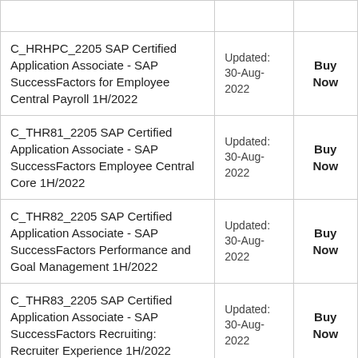|  |  |  |
| --- | --- | --- |
| C_HRHPC_2205 SAP Certified Application Associate - SAP SuccessFactors for Employee Central Payroll 1H/2022 | Updated: 30-Aug-2022 | Buy Now |
| C_THR81_2205 SAP Certified Application Associate - SAP SuccessFactors Employee Central Core 1H/2022 | Updated: 30-Aug-2022 | Buy Now |
| C_THR82_2205 SAP Certified Application Associate - SAP SuccessFactors Performance and Goal Management 1H/2022 | Updated: 30-Aug-2022 | Buy Now |
| C_THR83_2205 SAP Certified Application Associate - SAP SuccessFactors Recruiting: Recruiter Experience 1H/2022 | Updated: 30-Aug-2022 | Buy Now |
| C_THR84_2205 SAP Certified Application Associate - SAP | Updated: 30-Aug-... | Buy Now |